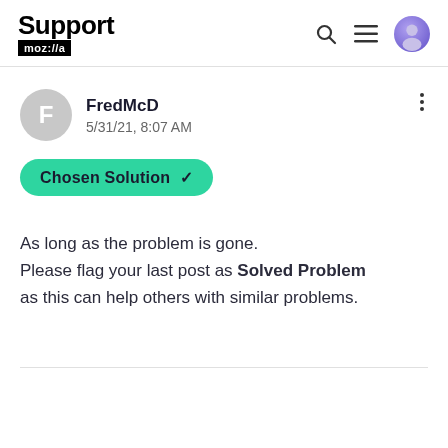Support mozilla//a
FredMcD
5/31/21, 8:07 AM
Chosen Solution ✓
As long as the problem is gone.
Please flag your last post as Solved Problem
as this can help others with similar problems.